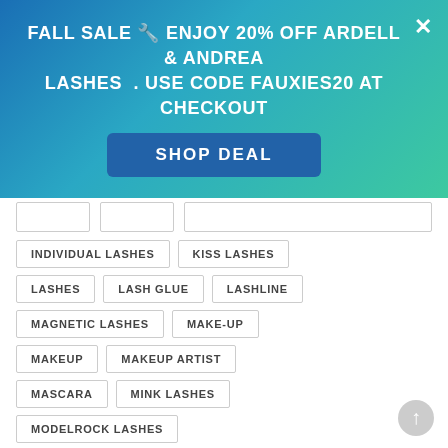FALL SALE 🔧 ENJOY 20% OFF ARDELL & ANDREA LASHES . USE CODE FAUXIES20 AT CHECKOUT
SHOP DEAL
INDIVIDUAL LASHES
KISS LASHES
LASHES
LASH GLUE
LASHLINE
MAGNETIC LASHES
MAKE-UP
MAKEUP
MAKEUP ARTIST
MASCARA
MINK LASHES
MODELROCK LASHES
NATURAL LASHES
PRO TIPS
RED CHERRY LASHES
STRIP LASHES
TIPS
TUTORIALS
USEFUL TIPS